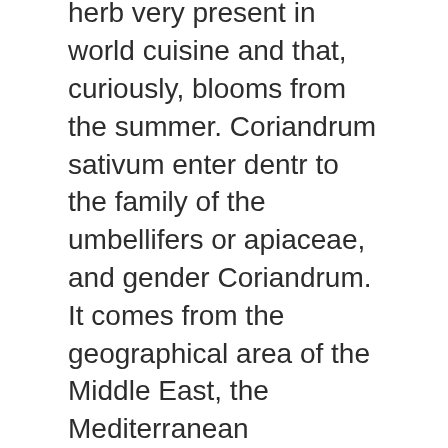We start this blog about medicinal and aromatic plants with coriander, an herb very present in world cuisine and that, curiously, blooms from the summer. Coriandrum sativum enter dentr to the family of the umbellifers or apiaceae, and gender Coriandrum. It comes from the geographical area of the Middle East, the Mediterranean